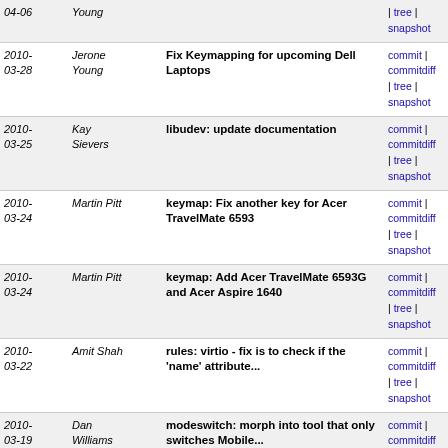| Date | Author | Message | Links |
| --- | --- | --- | --- |
| 2010-04-06 | Young |  | | tree | snapshot |
| 2010-03-28 | Jerone Young | Fix Keymapping for upcoming Dell Laptops | commit | commitdiff | tree | snapshot |
| 2010-03-25 | Kay Sievers | libudev: update documentation | commit | commitdiff | tree | snapshot |
| 2010-03-24 | Martin Pitt | keymap: Fix another key for Acer TravelMate 6593 | commit | commitdiff | tree | snapshot |
| 2010-03-24 | Martin Pitt | keymap: Add Acer TravelMate 6593G and Acer Aspire 1640 | commit | commitdiff | tree | snapshot |
| 2010-03-22 | Amit Shah | rules: virtio - fix is to check if the 'name' attribute... | commit | commitdiff | tree | snapshot |
| 2010-03-19 | Dan Williams | modeswitch: morph into tool that only switches Mobile... | commit | commitdiff | tree | snapshot |
| 2010-03-18 | Kay Sievers | cdrom_id: open non-mounted optical media with O_EXCL | commit | commitdiff | tree | snapshot |
| 2010-03-18 | Kay Sievers | add LGPL COPYING to libudev and GUdev | commit | commitdiff | tree | snapshot |
| 2010-03-17 | Kay Sievers | libudev: add udev_device_new_from_environment() | commit | commitdiff | tree | snapshot |
| 2010-03-17 | Kay Sievers | do not reset SELinux context when the node was not... | commit | commitdiff | tree | snapshot |